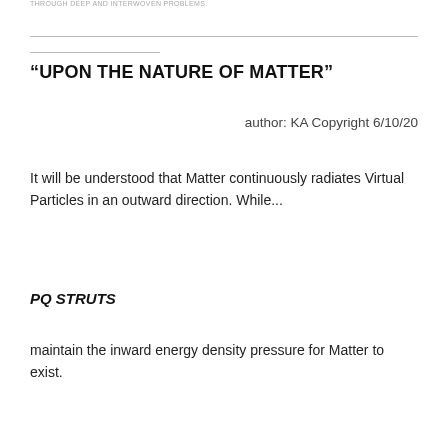THROUGH DEEP AND INTERWOVEN PROBLEMS.
“UPON THE NATURE OF MATTER”
author: KA Copyright 6/10/20
It will be understood that Matter continuously radiates Virtual Particles in an outward direction. While...
PQ STRUTS
maintain the inward energy density pressure for Matter to exist.